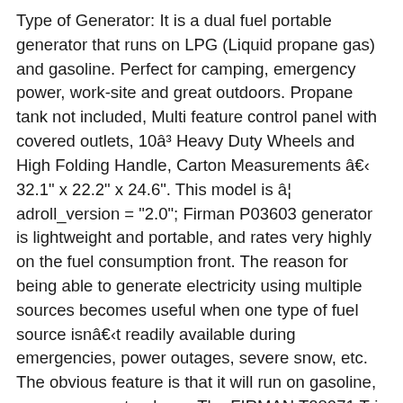Type of Generator: It is a dual fuel portable generator that runs on LPG (Liquid propane gas) and gasoline. Perfect for camping, emergency power, work-site and great outdoors. Propane tank not included, Multi feature control panel with covered outlets, 10â³ Heavy Duty Wheels and High Folding Handle, Carton Measurements â‍‍ 32.1" x 22.2" x 24.6". This model is â¦ adroll_version = "2.0"; Firman P03603 generator is lightweight and portable, and rates very highly on the fuel consumption front. The reason for being able to generate electricity using multiple sources becomes useful when one type of fuel source isnâ‍‍t readily available during emergencies, power outages, severe snow, etc. The obvious feature is that it will run on gasoline, propane, or natural gas. The FIRMAN T08071 Tri Fuel generator is a 10000 watt trifecta with the ability to run off of gasoline, propane, and natural gas with an electric starting system. The FIRMAN T08071